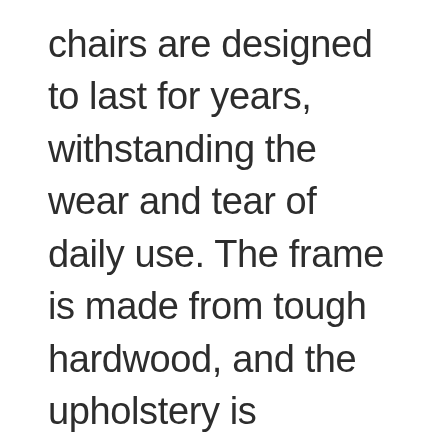chairs are designed to last for years, withstanding the wear and tear of daily use. The frame is made from tough hardwood, and the upholstery is constructed from high-quality materials. In addition, each chair undergoes a rigorous quality control process to ensure that it meets the company's high standards. As a result, you can be sure that your Lazy Boy chair will provide years of comfortable seating. So next time you're in the market for a new chair, be sure to consider a Lazy Boy it